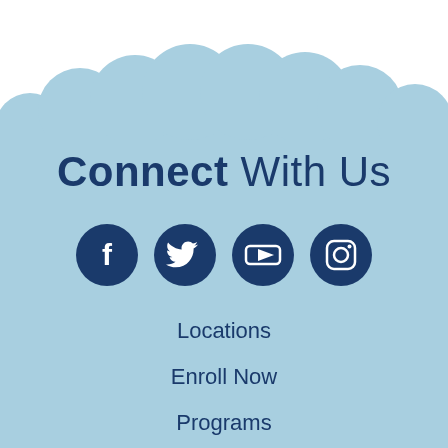[Figure (illustration): Light blue scalloped cloud background shape filling most of the page, with white semi-circles along the top edge creating a cloud/bubble border effect.]
Connect With Us
[Figure (infographic): Four dark navy blue circular social media icons in a row: Facebook (f), Twitter (bird), YouTube (play button), Instagram (camera)]
Locations
Enroll Now
Programs
About Us
Support Us
Careers
Staff